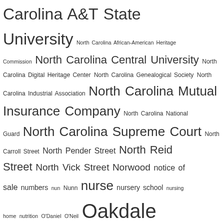Carolina A&T State University North Carolina African-American Heritage Commission North Carolina Central University North Carolina Digital Heritage Center North Carolina Genealogical Society North Carolina Industrial Association North Carolina Mutual Insurance Company North Carolina National Guard North Carolina Supreme Court North Carroll Street North Pender Street North Reid Street North Vick Street Norwood notice of sale numbers nun Nunn nurse nursery school nursing home nutrition O'Daniel O'Neil Oakdale cemetery Oaklawn cemetery Oates Oats obelisk Obery Obey obituary Oblate Sisters of Providence occupation occupied Japan octogenarian Odd Fellows Odd Fellows cemetery Odd Fellows Cemt Odum Office of State Archaeology oil mill Oklahoma Old Fields township Oliver Moore Omega Psi Phi fraternity one-place study one-room school Opelika AL opera house Oral History oral interview orange Orange Hotel orator orchestra Order of Elks organist organized orphan Other affiliations